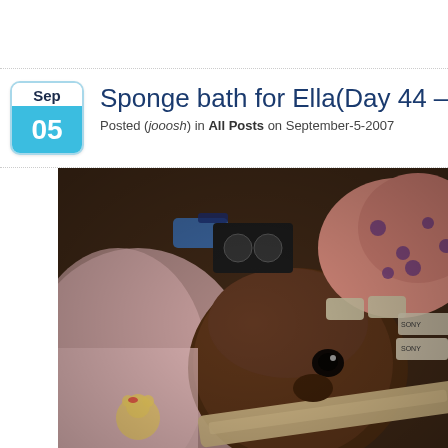Sponge bath for Ella(Day 44 – Even
Posted (jooosh) in All Posts on September-5-2007
[Figure (photo): Close-up photograph of a premature baby (Ella) with medical equipment including a feeding tube taped across the face, monitoring electrode patches, and wearing a pink and purple polka-dot sock/hat. The baby appears to be in a NICU setting with various medical devices visible.]